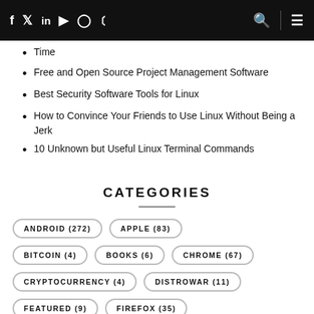Social nav bar with icons
Time
Free and Open Source Project Management Software
Best Security Software Tools for Linux
How to Convince Your Friends to Use Linux Without Being a Jerk
10 Unknown but Useful Linux Terminal Commands
CATEGORIES
ANDROID (272)
APPLE (83)
BITCOIN (4)
BOOKS (6)
CHROME (67)
CRYPTOCURRENCY (4)
DISTROWAR (11)
FEATURED (9)
FIREFOX (35)